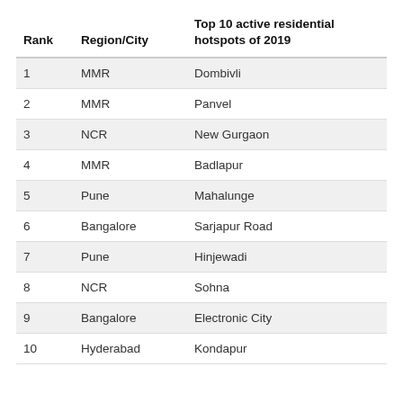| Rank | Region/City | Top 10 active residential hotspots of 2019 |
| --- | --- | --- |
| 1 | MMR | Dombivli |
| 2 | MMR | Panvel |
| 3 | NCR | New Gurgaon |
| 4 | MMR | Badlapur |
| 5 | Pune | Mahalunge |
| 6 | Bangalore | Sarjapur Road |
| 7 | Pune | Hinjewadi |
| 8 | NCR | Sohna |
| 9 | Bangalore | Electronic City |
| 10 | Hyderabad | Kondapur |